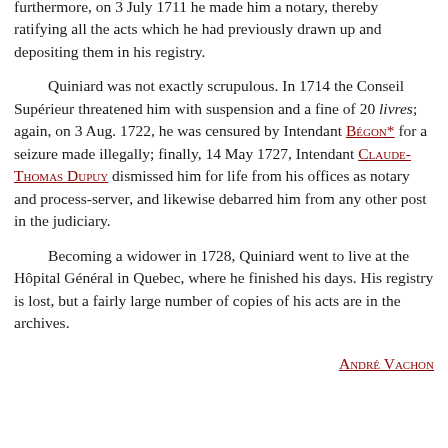furthermore, on 3 July 1711 he made him a notary, thereby ratifying all the acts which he had previously drawn up and depositing them in his registry.
Quiniard was not exactly scrupulous. In 1714 the Conseil Supérieur threatened him with suspension and a fine of 20 livres; again, on 3 Aug. 1722, he was censured by Intendant Bégon* for a seizure made illegally; finally, 14 May 1727, Intendant Claude-Thomas Dupuy dismissed him for life from his offices as notary and process-server, and likewise debarred him from any other post in the judiciary.
Becoming a widower in 1728, Quiniard went to live at the Hôpital Général in Quebec, where he finished his days. His registry is lost, but a fairly large number of copies of his acts are in the archives.
André Vachon